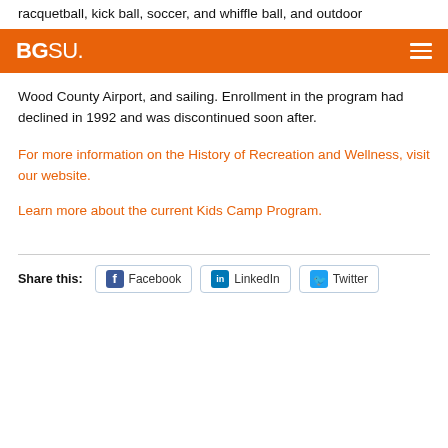racquetball, kick ball, soccer, and whiffle ball, and outdoor
[Figure (logo): BGSU navigation bar with orange background, BGSU logo on left, hamburger menu on right]
Wood County Airport, and sailing. Enrollment in the program had declined in 1992 and was discontinued soon after.
For more information on the History of Recreation and Wellness, visit our website.
Learn more about the current Kids Camp Program.
Share this: Facebook LinkedIn Twitter